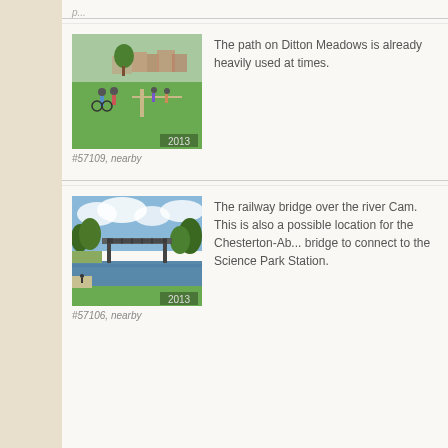#57109, nearby
The path on Ditton Meadows is already heavily used at times.
[Figure (photo): People cycling and walking on a path through Ditton Meadows, a green field with houses in the background, dated 2013]
#57109, nearby
[Figure (photo): Railway bridge over the river Cam with towpath visible, trees in background, dated 2013]
#57106, nearby
The railway bridge over the river Cam. This is also a possible location for the Chesterton-Ab... bridge to connect to the Science Park Station.